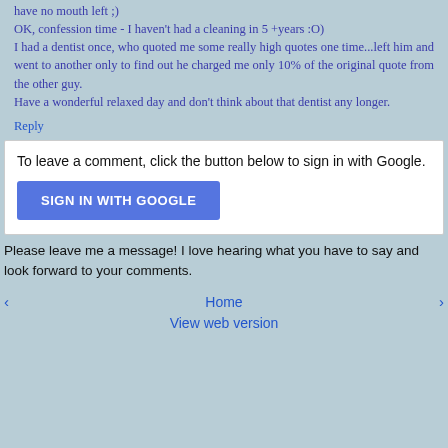have no mouth left ;) OK, confession time - I haven't had a cleaning in 5 +years :O) I had a dentist once, who quoted me some really high quotes one time...left him and went to another only to find out he charged me only 10% of the original quote from the other guy. Have a wonderful relaxed day and don't think about that dentist any longer.
Reply
To leave a comment, click the button below to sign in with Google.
SIGN IN WITH GOOGLE
Please leave me a message! I love hearing what you have to say and look forward to your comments.
‹  Home  View web version  ›